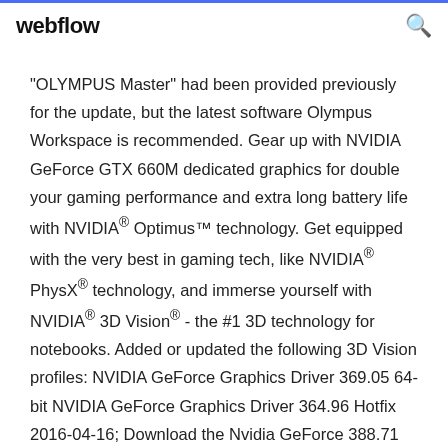webflow
"OLYMPUS Master" had been provided previously for the update, but the latest software Olympus Workspace is recommended. Gear up with NVIDIA GeForce GTX 660M dedicated graphics for double your gaming performance and extra long battery life with NVIDIA® Optimus™ technology. Get equipped with the very best in gaming tech, like NVIDIA® PhysX® technology, and immerse yourself with NVIDIA® 3D Vision® - the #1 3D technology for notebooks. Added or updated the following 3D Vision profiles: NVIDIA GeForce Graphics Driver 369.05 64-bit NVIDIA GeForce Graphics Driver 364.96 Hotfix 2016-04-16; Download the Nvidia GeForce 388.71 WHQL driver as released by